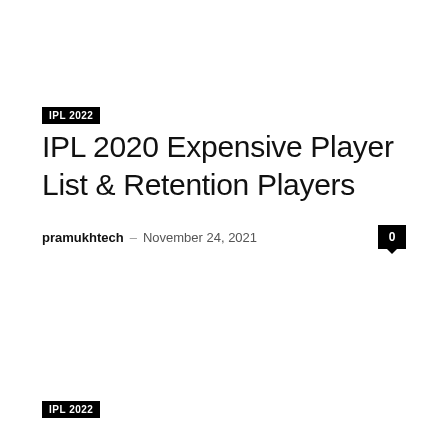IPL 2022
IPL 2020 Expensive Player List & Retention Players
pramukhtech — November 24, 2021
IPL 2022